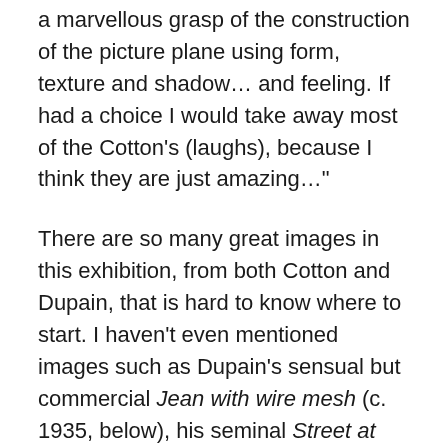a marvellous grasp of the construction of the picture plane using form, texture and shadow… and feeling. If had a choice I would take away most of the Cotton's (laughs), because I think they are just amazing…"
There are so many great images in this exhibition, from both Cotton and Dupain, that is hard to know where to start. I haven't even mentioned images such as Dupain's sensual but commercial Jean with wire mesh (c. 1935, below), his seminal Street at Central (1939, below) with its raking light and abstraction, or Cotton's most famous image Teacup ballet (1935, below). I could go on and on. The only disappointment with the exhibition is that, for the uninitiated, there is little to place both photographers works in the context of their time and place, other than a few The Home magazines in a couple of display cases